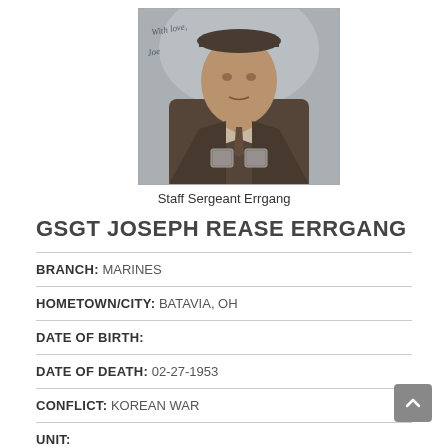[Figure (photo): Black and white portrait photograph of a military soldier in uniform with medals, with a handwritten inscription in the upper left corner.]
Staff Sergeant Errgang
GSGT JOSEPH REASE ERRGANG
BRANCH: MARINES
HOMETOWN/CITY: BATAVIA, OH
DATE OF BIRTH:
DATE OF DEATH: 02-27-1953
CONFLICT: KOREAN WAR
UNIT: